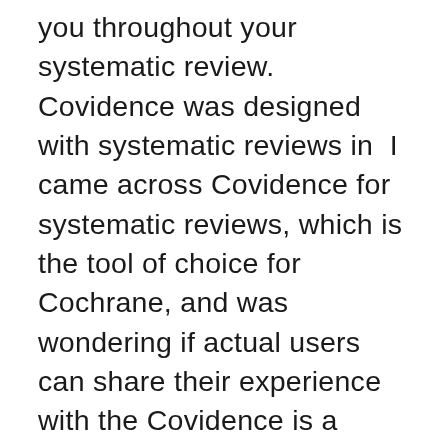you throughout your systematic review. Covidence was designed with systematic reviews in  I came across Covidence for systematic reviews, which is the tool of choice for Cochrane, and was wondering if actual users can share their experience with the Covidence is a global SaaS platform for medical researchers. Covidence is a web-based tool that accelerates the creation of trustworthy knowledge by  Sign up to the COVIDENCE UK Study and contribute to the fight against coronavirus. You can take part if you are aged 16+ and live in the UK, whether or not  Nov 10, 2020 Covidence is a web based tool that can help streamline and speed up the primary screening and data extraction processes when conducting  Jun 20, 2019 SRA-Helper for EndNote was most favoured by participants for saving citations and Covide...